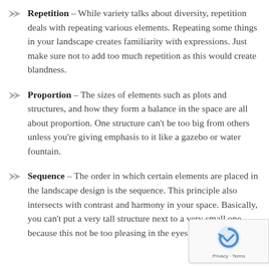Repetition – While variety talks about diversity, repetition deals with repeating various elements. Repeating some things in your landscape creates familiarity with expressions. Just make sure not to add too much repetition as this would create blandness.
Proportion – The sizes of elements such as plots and structures, and how they form a balance in the space are all about proportion. One structure can't be too big from others unless you're giving emphasis to it like a gazebo or water fountain.
Sequence – The order in which certain elements are placed in the landscape design is the sequence. This principle also intersects with contrast and harmony in your space. Basically, you can't put a very tall structure next to a very small one because this not be too pleasing in the eyes.